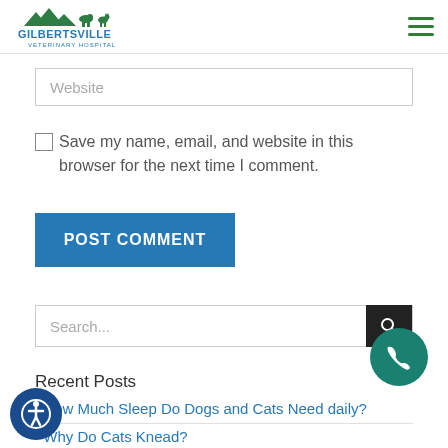Gilbertsville Veterinary Hospital
Website
Save my name, email, and website in this browser for the next time I comment.
POST COMMENT
Search...
Recent Posts
How Much Sleep Do Dogs and Cats Need daily?
Why Do Cats Knead?